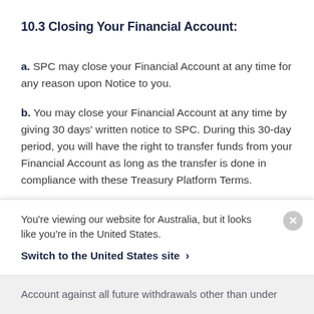10.3 Closing Your Financial Account:
a. SPC may close your Financial Account at any time for any reason upon Notice to you.
b. You may close your Financial Account at any time by giving 30 days' written notice to SPC. During this 30-day period, you will have the right to transfer funds from your Financial Account as long as the transfer is done in compliance with these Treasury Platform Terms.
c. SPC is not required to close your Financial Account at
You're viewing our website for Australia, but it looks like you're in the United States.
Switch to the United States site ›
Account against all future withdrawals other than under